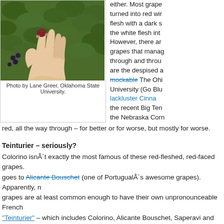[Figure (photo): A hand holding a dark red grape against a leafy green background]
Photo by Lane Greer, Oklahoma State University.
either. Most grape turned into red wir flesh with a dark s the white flesh int However, there ar grapes that manag through and throu are the despised a mockable The Ohi University (Go Blu lackluster Cincinn the recent Big Ten the Nebraska Corn red, all the way through – for better or for worse, but mostly for worse.
Teinturier – seriously?
Colorino isnÂ´t exactly the most famous of these red-fleshed, red-faced grapes. goes to Alicante Bouschet (one of PortugualÂ´s awesome grapes). Apparently, grapes are at least common enough to have their own unpronounceable French "Teinturier" – which includes Colorino, Alicante Bouschet, Saperavi and Dunkelf Probably others too.
Taste:
What I thought…. Medium body, medium dry, blackberries finish, blueberries tast pizza and worked really well.
What experts think (since apparently we drank VERY different wines)…. scents o